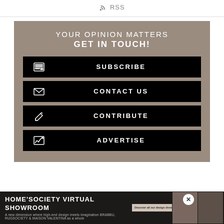RSS
[Figure (infographic): Call-to-action box with taupe/brown background containing the headline 'YOUR OPINION MATTERS / GET IN TOUCH!' and four black buttons: SUBSCRIBE, CONTACT US, CONTRIBUTE, ADVERTISE, each with a small white icon on the left.]
[Figure (infographic): Advertisement banner at the bottom: HOME'SOCIETY VIRTUAL SHOWROOM with tagline 'A new dimension where high-end design meets imagination BRABBU, RUGSOCIETY & MAISON VALENTINA as a whole']